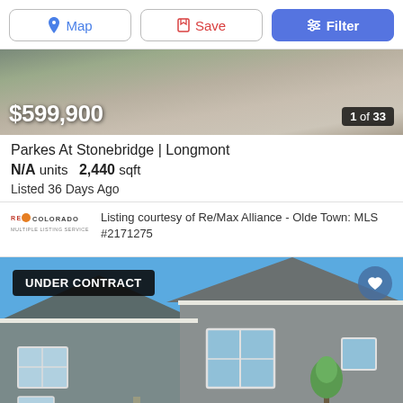[Figure (screenshot): Toolbar with Map, Save, and Filter buttons]
[Figure (photo): Hero image of landscaping/rocks with price overlay $599,900 and photo counter 1 of 33]
Parkes At Stonebridge | Longmont
N/A units   2,440 sqft
Listed 36 Days Ago
Listing courtesy of Re/Max Alliance - Olde Town: MLS #2171275
[Figure (photo): House exterior photo with blue sky, gray siding, white trim windows. Badge: UNDER CONTRACT. Heart/favorite button top right.]